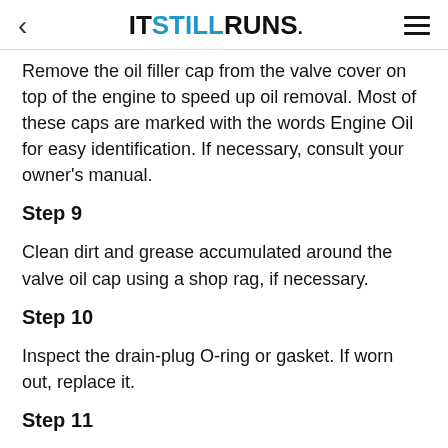IT STILL RUNS.
Remove the oil filler cap from the valve cover on top of the engine to speed up oil removal. Most of these caps are marked with the words Engine Oil for easy identification. If necessary, consult your owner's manual.
Step 9
Clean dirt and grease accumulated around the valve oil cap using a shop rag, if necessary.
Step 10
Inspect the drain-plug O-ring or gasket. If worn out, replace it.
Step 11